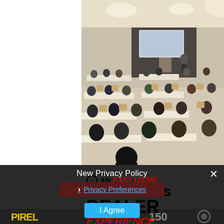[Figure (photo): Conference or seminar room photo showing audience seated at tables facing a presenter on stage with projection screen. Multiple people seated from behind, warm lighting.]
[Figure (infographic): Advertisement banner with text: AN EXCLUSIVE POWERSPORTS DEALER EXPERIENCE. Arrow icon on left. EXCLUSIVE and EXPERIENCE in red italic, other words in black bold.]
New Privacy Policy
Privacy Preferences
I Agree